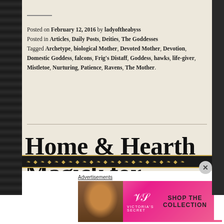Posted on February 12, 2016 by ladyoftheabyss
Posted in Articles, Daily Posts, Deities, The Goddesses
Tagged Archetype, biological Mother, Devoted Mother, Devotion, Domestic Goddess, falcons, Frig's Distaff, Goddess, hawks, life-giver, Mistletoe, Nurturing, Patience, Ravens, The Mother.
Home & Hearth Magick for Monday, January 18th
[Figure (infographic): Decorative gold and black banner strip, ornamental pattern]
Advertisements
[Figure (screenshot): Victoria's Secret advertisement: woman with curly hair, pink background, SHOP THE COLLECTION text, SHOP NOW button]